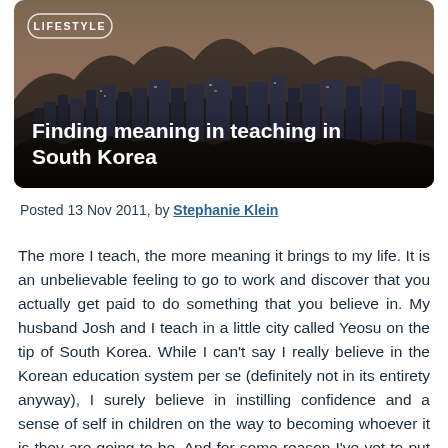[Figure (photo): Aerial/skyline photo of a Korean city (likely Seoul or Yeosu) at dusk with mountains in the background, overlaid with article title and LIFESTYLE badge]
Finding meaning in teaching in South Korea
Posted 13 Nov 2011, by Stephanie Klein
The more I teach, the more meaning it brings to my life. It is an unbelievable feeling to go to work and discover that you actually get paid to do something that you believe in. My husband Josh and I teach in a little city called Yeosu on the tip of South Korea. While I can't say I really believe in the Korean education system per se (definitely not in its entirety anyway), I surely believe in instilling confidence and a sense of self in children on the way to becoming whoever it is they are going to be. And for some reason I've yet to put my finger on, these particular